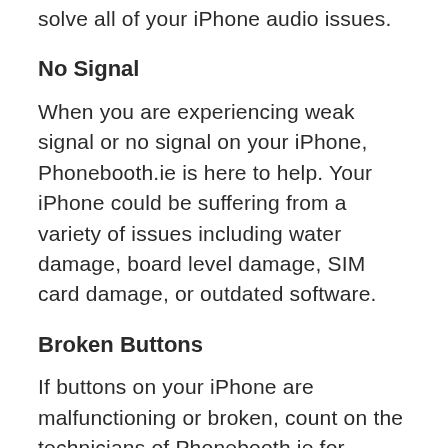solve all of your iPhone audio issues.
No Signal
When you are experiencing weak signal or no signal on your iPhone, Phonebooth.ie is here to help. Your iPhone could be suffering from a variety of issues including water damage, board level damage, SIM card damage, or outdated software.
Broken Buttons
If buttons on your iPhone are malfunctioning or broken, count on the technicians of Phonebooth.ie for professional